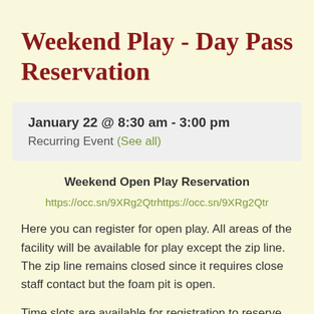Weekend Play - Day Pass Reservation
January 22 @ 8:30 am - 3:00 pm
Recurring Event (See all)
Weekend Open Play Reservation
https://occ.sn/9XRg2Qtrhttps://occ.sn/9XRg2Qtr
Here you can register for open play. All areas of the facility will be available for play except the zip line. The zip line remains closed since it requires close staff contact but the foam pit is open.
Time slots are available for registration to reserve your